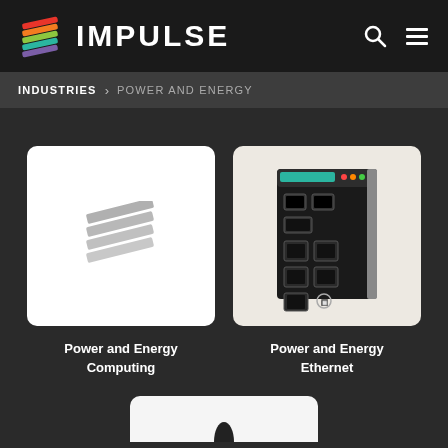IMPULSE
INDUSTRIES > POWER AND ENERGY
[Figure (photo): White card with gray Impulse logo icon (stacked diagonal lines)]
Power and Energy Computing
[Figure (photo): Cream/beige card with photo of a black industrial Ethernet switch device with multiple ports]
Power and Energy Ethernet
[Figure (photo): Partial white card visible at bottom of page with a dark device partially visible]